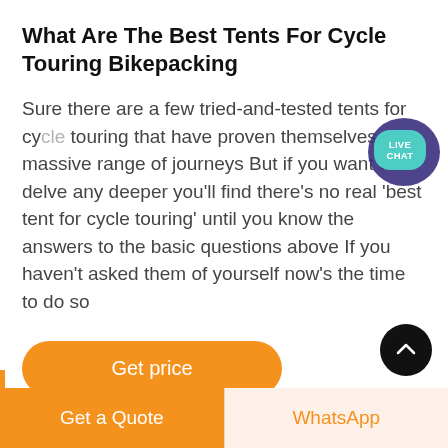What Are The Best Tents For Cycle Touring Bikepacking
Sure there are a few tried-and-tested tents for cycle touring that have proven themselves on a massive range of journeys But if you want to delve any deeper you'll find there's no real 'best tent for cycle touring' until you know the answers to the basic questions above If you haven't asked them of yourself now's the time to do so
[Figure (other): Live Chat chat bubble icon with teal oval label reading LIVE CHAT and dark purple speech bubble background]
[Figure (other): Orange rounded rectangle button labeled Get price]
[Figure (other): Black circular scroll-to-top button with white chevron/arrow up icon]
[Figure (other): Bottom navigation bar with orange Get a Quote button on the left and light peach WhatsApp button with orange text on the right]